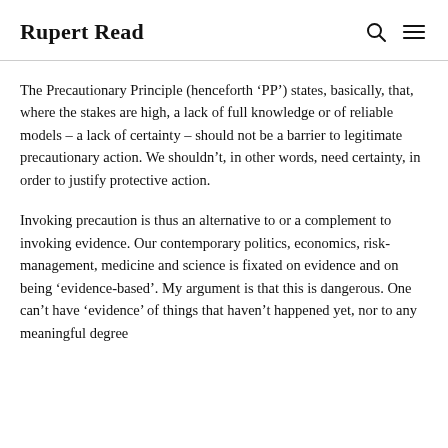Rupert Read
The Precautionary Principle (henceforth ‘PP’) states, basically, that, where the stakes are high, a lack of full knowledge or of reliable models – a lack of certainty – should not be a barrier to legitimate precautionary action. We shouldn’t, in other words, need certainty, in order to justify protective action.
Invoking precaution is thus an alternative to or a complement to invoking evidence. Our contemporary politics, economics, risk-management, medicine and science is fixated on evidence and on being ‘evidence-based’. My argument is that this is dangerous. One can’t have ‘evidence’ of things that haven’t happened yet, nor to any meaningful degree